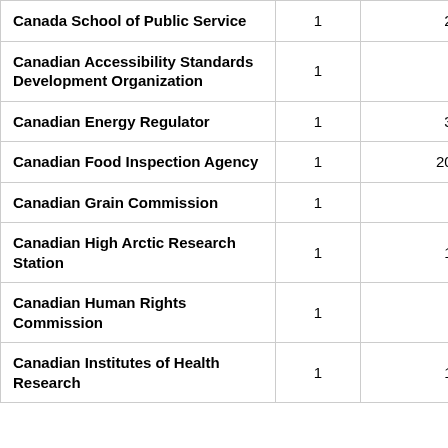| Canada School of Public Service | 1 | 2,562,684 |
| Canadian Accessibility Standards Development Organization | 1 | 456,080 |
| Canadian Energy Regulator | 1 | 3,752,097 |
| Canadian Food Inspection Agency | 1 | 20,453,299 |
| Canadian Grain Commission | 1 | 196,423 |
| Canadian High Arctic Research Station | 1 | 1,295,403 |
| Canadian Human Rights Commission | 1 | 833,937 |
| Canadian Institutes of Health Research | 1 | 1,246,643 |